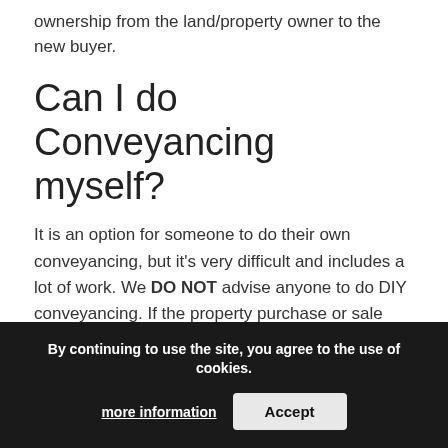ownership from the land/property owner to the new buyer.
Can I do Conveyancing myself?
It is an option for someone to do their own conveyancing, but it's very difficult and includes a lot of work. We DO NOT advise anyone to do DIY conveyancing. If the property purchase or sale requires a mortgage, it's likely that the mortgage lender will require a solicitor or conveyancer to process the conveyancing work. Now the UK has a high number of firms and conveyancing solicitors offering cheap legal services, this has made the domestic conveyancing industry very competitive. How can you compare the highest rated Conveyancing Solicitor in Appleby in Westmorland?
We compare conveyancing fees from highly rated Appleby in Westmorland property solicitors. Our carefully selected